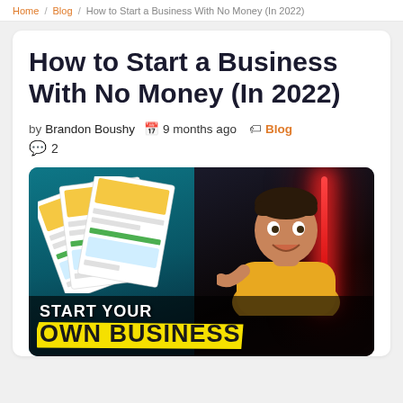Home / Blog / How to Start a Business With No Money (In 2022)
How to Start a Business With No Money (In 2022)
by Brandon Boushy  9 months ago  Blog  2
[Figure (photo): Promotional thumbnail image of a man in a yellow shirt holding documents and pointing at them, with neon lighting. Text overlay reads START YOUR OWN BUSINESS.]